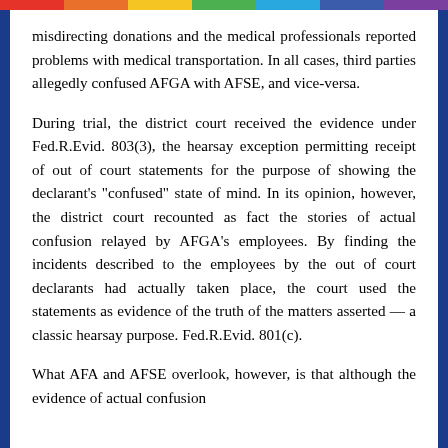misdirecting donations and the medical professionals reported problems with medical transportation. In all cases, third parties allegedly confused AFGA with AFSE, and vice-versa.
During trial, the district court received the evidence under Fed.R.Evid. 803(3), the hearsay exception permitting receipt of out of court statements for the purpose of showing the declarant's "confused" state of mind. In its opinion, however, the district court recounted as fact the stories of actual confusion relayed by AFGA's employees. By finding the incidents described to the employees by the out of court declarants had actually taken place, the court used the statements as evidence of the truth of the matters asserted — a classic hearsay purpose. Fed.R.Evid. 801(c).
What AFA and AFSE overlook, however, is that although the evidence of actual confusion